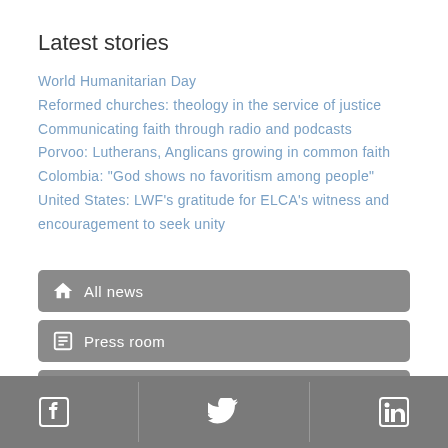Latest stories
World Humanitarian Day
Reformed churches: theology in the service of justice
Communicating faith through radio and podcasts
Porvoo: Lutherans, Anglicans growing in common faith
Colombia: "God shows no favoritism among people"
United States: LWF's gratitude for ELCA's witness and encouragement to seek unity
[Figure (screenshot): Three navigation buttons: All news (home icon), Press room (document icon), Image library (image icon), rendered as grey rounded rectangles with white text and icons]
[Figure (infographic): Footer bar with three social media icons: Facebook, Twitter, LinkedIn, separated by vertical dividers on grey background]